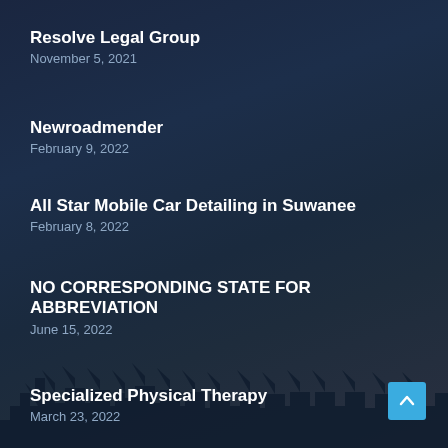Resolve Legal Group
November 5, 2021
Newroadmender
February 9, 2022
All Star Mobile Car Detailing in Suwanee
February 8, 2022
NO CORRESPONDING STATE FOR ABBREVIATION
June 15, 2022
Specialized Physical Therapy
March 23, 2022